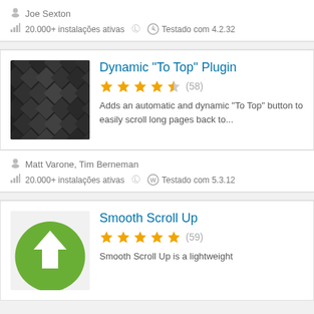Joe Sexton
20.000+ instalações ativas  Testado com 4.2.32
Dynamic "To Top" Plugin
(58) — 4.5 stars
Adds an automatic and dynamic "To Top" button to easily scroll long pages back to...
Matt Varone, Tim Berneman
20.000+ instalações ativas  Testado com 5.3.12
Smooth Scroll Up
(59) — 5 stars
Smooth Scroll Up is a lightweight